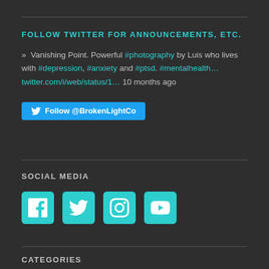FOLLOW TWITTER FOR ANNOUNCEMENTS, ETC.
» Vanishing Point. Powerful #photography by Luis who lives with #depression, #anxiety and #ptsd. #mentalhealth… twitter.com/i/web/status/1… 10 months ago
[Figure (other): Follow @BrokenLightCo Twitter follow button]
SOCIAL MEDIA
[Figure (other): Social media icons: Facebook, Twitter, Instagram, YouTube]
CATEGORIES